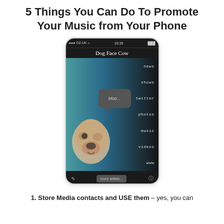5 Things You Can Do To Promote Your Music from Your Phone
[Figure (screenshot): A smartphone screen showing the Dog Face Cow music app with a dog photo, menu items (news, shows, twitter, photos, music, videos, www), a speech bubble saying 'Moo...', and bottom navigation bar with 'more artists...' button.]
1. Store Media contacts and USE them – yes, you can